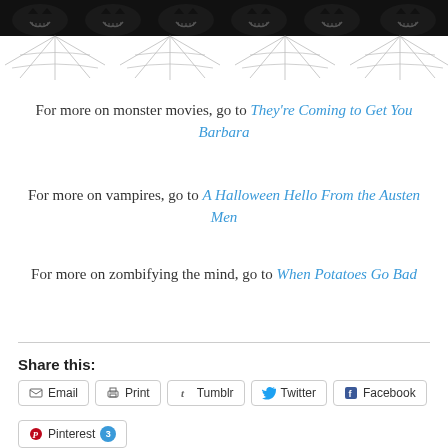[Figure (illustration): Halloween banner with black jack-o-lanterns and spiderweb pattern at top of page]
For more on monster movies, go to They're Coming to Get You Barbara
For more on vampires, go to A Halloween Hello From the Austen Men
For more on zombifying the mind, go to When Potatoes Go Bad
Share this:
Email  Print  Tumblr  Twitter  Facebook  Pinterest 3